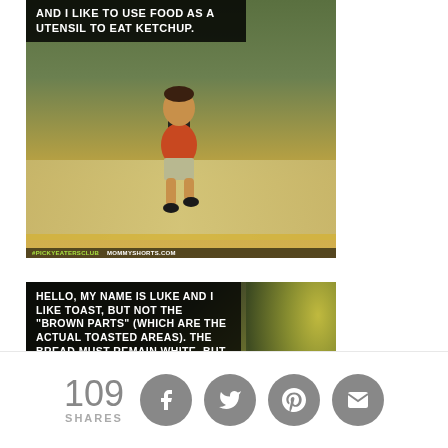[Figure (photo): Meme photo of a young boy walking on a sidewalk with a backpack, with text overlay reading 'AND I LIKE TO USE FOOD AS A UTENSIL TO EAT KETCHUP.' and watermark '#PICKYEATERSCLUB MOMMYSHORTS.COM']
[Figure (photo): Meme photo with dark background and foliage, text overlay reading 'HELLO, MY NAME IS LUKE AND I LIKE TOAST, BUT NOT THE "BROWN PARTS" (WHICH ARE THE ACTUAL TOASTED AREAS). THE BREAD MUST REMAIN WHITE, BUT HAVE A SLIGHTLY HARDER']
109 SHARES